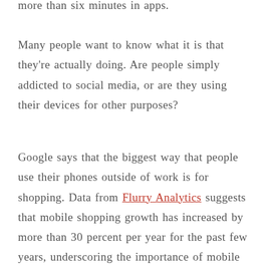more than six minutes in apps.
Many people want to know what it is that they're actually doing. Are people simply addicted to social media, or are they using their devices for other purposes?
Google says that the biggest way that people use their phones outside of work is for shopping. Data from Flurry Analytics suggests that mobile shopping growth has increased by more than 30 percent per year for the past few years, underscoring the importance of mobile e-commerce